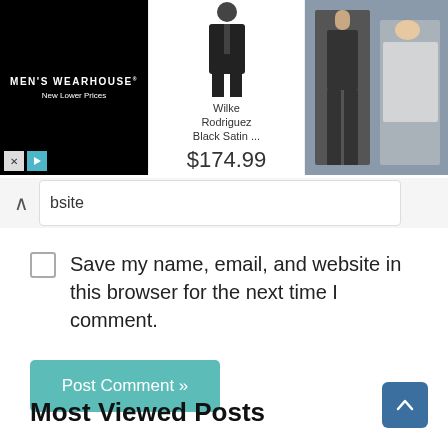[Figure (screenshot): Men's Wearhouse advertisement banner showing a black tuxedo suit with 'Wilke Rodriguez Black Satin ...' priced at $174.99, alongside a photo of a couple dressed formally]
bsite
Save my name, email, and website in this browser for the next time I comment.
Post Comment »
Most Viewed Posts